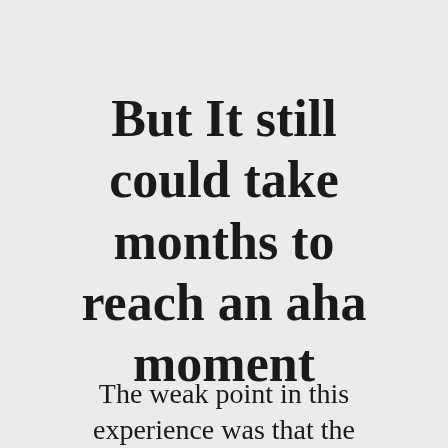But It still could take months to reach an aha moment
The weak point in this experience was that the